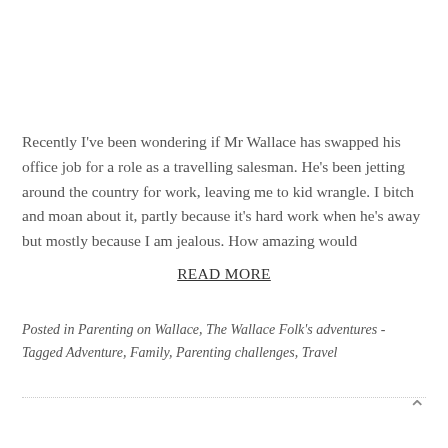Recently I've been wondering if Mr Wallace has swapped his office job for a role as a travelling salesman. He's been jetting around the country for work, leaving me to kid wrangle. I bitch and moan about it, partly because it's hard work when he's away but mostly because I am jealous. How amazing would
READ MORE
Posted in Parenting on Wallace, The Wallace Folk's adventures - Tagged Adventure, Family, Parenting challenges, Travel